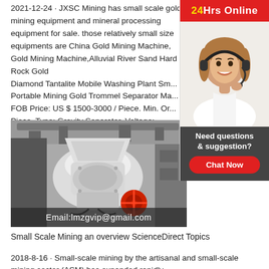2021-12-24 · JXSC Mining has small scale gold mining equipment and mineral processing equipment for sale. those relatively small size equipments are China Gold Mining Machine, Gold Mining Machine,Alluvial River Sand Hard Rock Gold Diamond Tantalite Mobile Washing Plant Sm... Portable Mining Gold Trommel Separator Ma... FOB Price: US $ 1500-3000 / Piece. Min. Or... Piece. Type: Gravity Separator. Voltage:
[Figure (photo): Photo of small scale mining/crushing equipment machinery in a workshop with overlay text Email:lmzgvip@gmail.com]
Small Scale Mining an overview ScienceDirect Topics
2018-8-16 · Small-scale mining by the artisanal and small-scale mining sector (ASM) has expanded rapidly
[Figure (infographic): 24Hrs Online advertisement banner with customer service representative photo, 'Need questions & suggestion?' text, and Chat Now button]